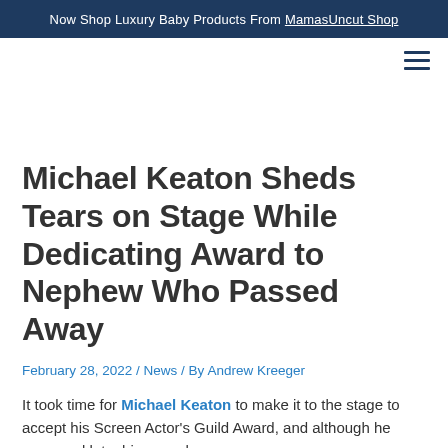Now Shop Luxury Baby Products From MamasUncut Shop
Michael Keaton Sheds Tears on Stage While Dedicating Award to Nephew Who Passed Away
February 28, 2022 / News / By Andrew Kreeger
It took time for Michael Keaton to make it to the stage to accept his Screen Actor's Guild Award, and although he appeared late, his speech